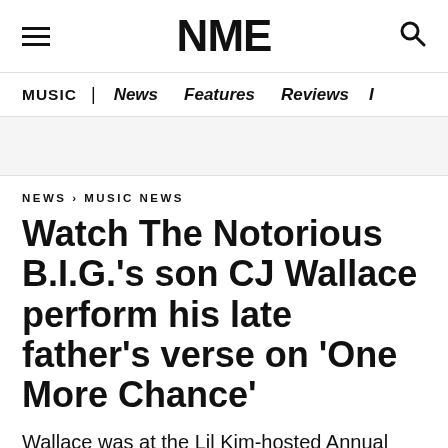NME
MUSIC | News Features Reviews I
NEWS › MUSIC NEWS
Watch The Notorious B.I.G.'s son CJ Wallace perform his late father's verse on 'One More Chance'
Wallace was at the Lil Kim-hosted Annual B.I.G. Dinner Gala in honour of the late